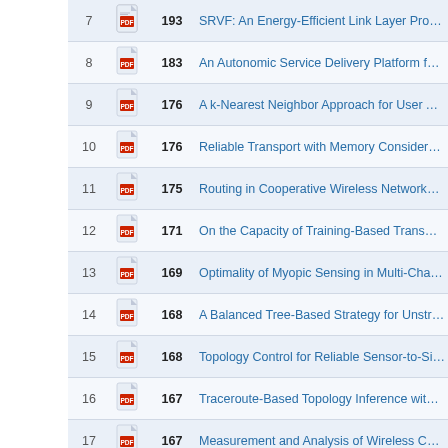| # |  | Citations | Title |
| --- | --- | --- | --- |
| 7 | [pdf] | 193 | SRVF: An Energy-Efficient Link Layer Protocol fo... |
| 8 | [pdf] | 183 | An Autonomic Service Delivery Platform for Servi... |
| 9 | [pdf] | 176 | A k-Nearest Neighbor Approach for User Authentic... |
| 10 | [pdf] | 176 | Reliable Transport with Memory Consideration in W... |
| 11 | [pdf] | 175 | Routing in Cooperative Wireless Networks with M... |
| 12 | [pdf] | 171 | On the Capacity of Training-Based Transmissions v... |
| 13 | [pdf] | 169 | Optimality of Myopic Sensing in Multi-Channel Op... |
| 14 | [pdf] | 168 | A Balanced Tree-Based Strategy for Unstructured M... |
| 15 | [pdf] | 168 | Topology Control for Reliable Sensor-to-Sink Data... |
| 16 | [pdf] | 167 | Traceroute-Based Topology Inference without Netw... |
| 17 | [pdf] | 167 | Measurement and Analysis of Wireless Channel Im... |
| 18 | [pdf] | 167 | Clustering Large Optical Networks for Distributed ... |
| 19 | [pdf] | 166 | Multi-Initiator Connected Dominating Set Construc... |
| 20 | [pdf] | 165 | Analysis of Symbol Error Rates for Signal Space D... |
| 21 | [pdf] | 164 | Detection of Encrypted Tunnels Across Network Be... |
| 22 | [pdf] | 163 | A New Replay Attack Against Anonymous Commu... |